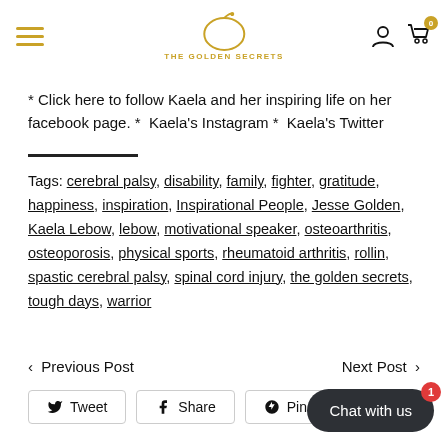The Golden Secrets — navigation header with logo
* Click here to follow Kaela and her inspiring life on her facebook page. *  Kaela's Instagram *  Kaela's Twitter
Tags: cerebral palsy, disability, family, fighter, gratitude, happiness, inspiration, Inspirational People, Jesse Golden, Kaela Lebow, lebow, motivational speaker, osteoarthritis, osteoporosis, physical sports, rheumatoid arthritis, rollin, spastic cerebral palsy, spinal cord injury, the golden secrets, tough days, warrior
< Previous Post    Next Post >
Tweet  Share  Pin  Chat with us